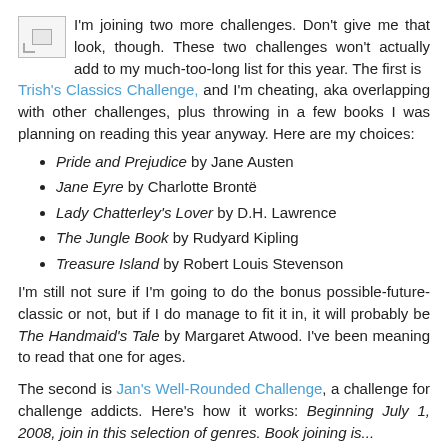I'm joining two more challenges. Don't give me that look, though. These two challenges won't actually add to my much-too-long list for this year. The first is Trish's Classics Challenge, and I'm cheating, aka overlapping with other challenges, plus throwing in a few books I was planning on reading this year anyway. Here are my choices:
Pride and Prejudice by Jane Austen
Jane Eyre by Charlotte Brontë
Lady Chatterley's Lover by D.H. Lawrence
The Jungle Book by Rudyard Kipling
Treasure Island by Robert Louis Stevenson
I'm still not sure if I'm going to do the bonus possible-future-classic or not, but if I do manage to fit it in, it will probably be The Handmaid's Tale by Margaret Atwood. I've been meaning to read that one for ages.
The second is Jan's Well-Rounded Challenge, a challenge for challenge addicts. Here's how it works: Beginning July 1, 2008, join in this selection of genres. Book joining is...